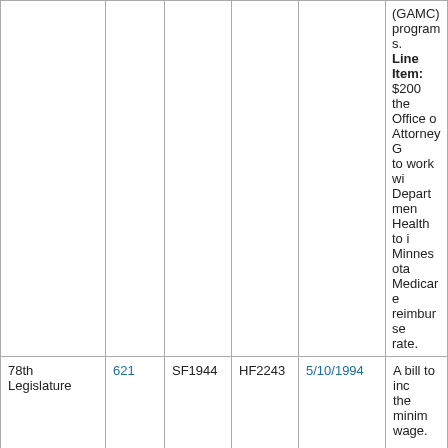| Legislature | Chapter | SF | HF | Date | Description |
| --- | --- | --- | --- | --- | --- |
|  |  |  |  |  | (GAMC) programs. Line Item: $200[...] the Office of Attorney G[...] to work wi[...] Department[...] Health to i[...] Minnesota[...] Medicare reimburse[...] rate. |
| 78th Legislature | 621 | SF1944 | HF2243 | 5/10/1994 | A bill to inc[...] the minim[...] wage. |
| 78th Legislature | 609 | SF2232 | HF2645 | 5/6/1994 | Appointme[...] given for s[...] county off[...] |
| 78th | 608 | SF2011 | HF3004 | 5/9/1994 | A bill relati[...] |